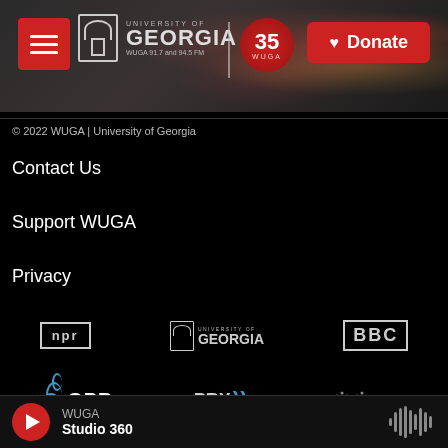[Figure (screenshot): WUGA University of Georgia radio station website header with navigation menu button, UGA arch logo, GEORGIA text, 35th anniversary badge, and red Donate button over a blurred mixing board background]
© 2022 WUGA | University of Georgia
Contact Us
Support WUGA
Privacy
[Figure (logo): NPR logo - text in bordered box]
[Figure (logo): University of Georgia arch logo with GEORGIA text]
[Figure (logo): BBC logo in bordered box]
[Figure (logo): GPB - Georgia Public Broadcasting logo with wave marks]
[Figure (logo): PRX logo with sound wave symbols]
[Figure (logo): American Public Media logo with dots]
WUGA
Studio 360